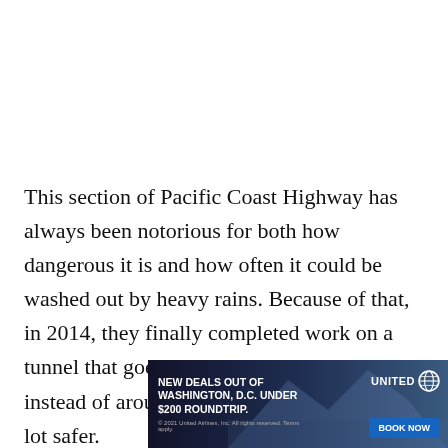This section of Pacific Coast Highway has always been notorious for both how dangerous it is and how often it could be washed out by heavy rains. Because of that, in 2014, they finally completed work on a tunnel that goes through the mountain instead of around it and makes this section a lot safer. Whe[...] hey
[Figure (other): United Airlines advertisement banner: 'NEW DEALS OUT OF WASHINGTON, D.C. UNDER $200 ROUNDTRIP.' with BOOK NOW button and United Airlines logo, overlaid on a photo of mountains/clouds.]